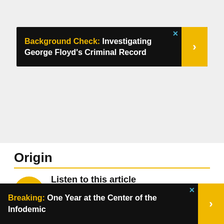[Figure (screenshot): Gray area containing an advertisement banner for 'Background Check: Investigating George Floyd's Criminal Record' with yellow and white text on black background, yellow arrow button, and blue X close button.]
Origin
[Figure (other): Audio player widget with yellow circular play button and waveform visualization, labeled 'Listen to this article']
[Figure (screenshot): Advertisement banner for 'Breaking: One Year at the Center of the Infodemic' with yellow and white text on black background and yellow arrow button.]